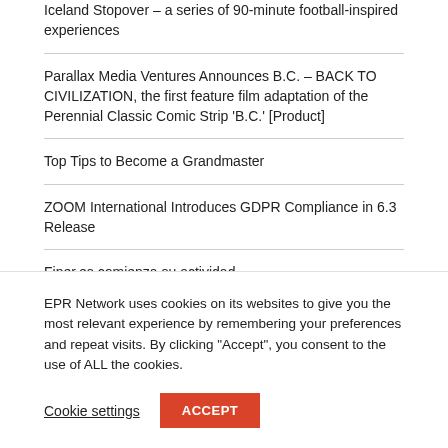Iceland Stopover – a series of 90-minute football-inspired experiences
Parallax Media Ventures Announces B.C. – BACK TO CIVILIZATION, the first feature film adaptation of the Perennial Classic Comic Strip ‘B.C.’ [Product]
Top Tips to Become a Grandmaster
ZOOM International Introduces GDPR Compliance in 6.3 Release
Finer.es comienza su actividad
EPR Network uses cookies on its websites to give you the most relevant experience by remembering your preferences and repeat visits. By clicking “Accept”, you consent to the use of ALL the cookies.
Cookie settings | ACCEPT